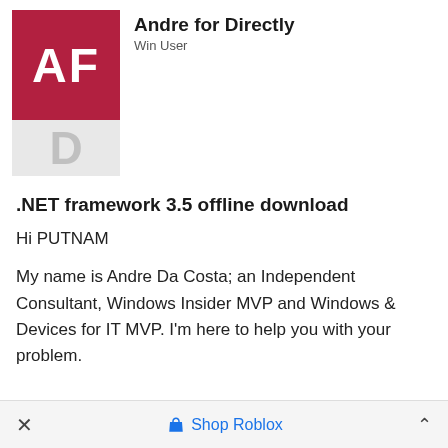[Figure (illustration): Red square avatar with white letters 'AF' on top, gray square avatar with light gray letter 'D' below]
Andre for Directly
Win User
.NET framework 3.5 offline download
Hi PUTNAM
My name is Andre Da Costa; an Independent Consultant, Windows Insider MVP and Windows & Devices for IT MVP. I'm here to help you with your problem.
× Shop Roblox ^